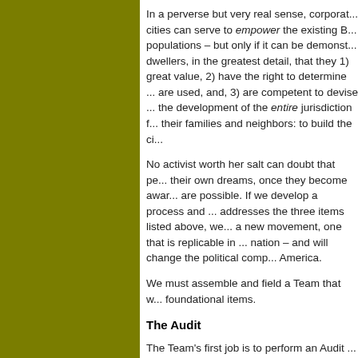In a perverse but very real sense, corporate cities can serve to empower the existing Black populations – but only if it can be demonstrated to dwellers, in the greatest detail, that they 1) are of great value, 2) have the right to determine how they are used, and, 3) are competent to devise and direct the development of the entire jurisdiction for themselves, their families and neighbors: to build the ci...
No activist worth her salt can doubt that people pursue their own dreams, once they become aware that they are possible. If we develop a process and a program that addresses the three items listed above, we will launch a new movement, one that is replicable in cities across the nation – and will change the political composition of America.
We must assemble and field a Team that will address foundational items.
The Audit
The Team's first job is to perform an Audit of the city's comprehensive assets. This task directly addresses #1, clarifying in great detail the value of the cit...
[Figure (logo): A circular red/maroon logo or icon, partially visible at the bottom of the page.]